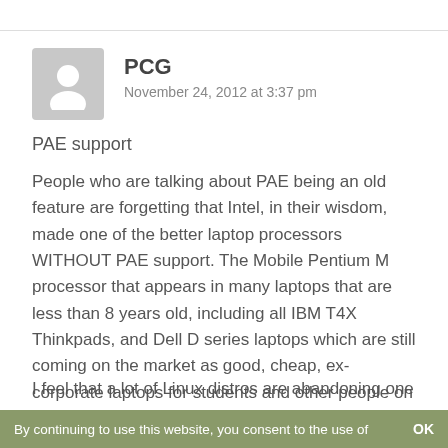[Figure (illustration): Generic user avatar silhouette on grey background]
PCG
November 24, 2012 at 3:37 pm
PAE support
People who are talking about PAE being an old feature are forgetting that Intel, in their wisdom, made one of the better laptop processors WITHOUT PAE support. The Mobile Pentium M processor that appears in many laptops that are less than 8 years old, including all IBM T4X Thinkpads, and Dell D series laptops which are still coming on the market as good, cheap, ex-corporate laptops for students and other people on limited budgets.
I feel that a lot of Linux distros are abandoning one of
By continuing to use this website, you consent to the use of    OK